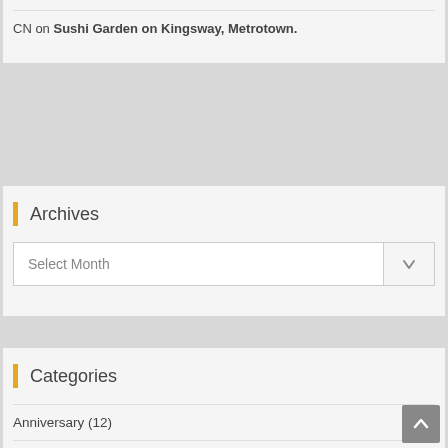CN on Sushi Garden on Kingsway, Metrotown.
Archives
Select Month
Categories
Anniversary (12)
Announcement (1)
Community Kitchen (1,075)
Community Kitchen 2006 (66)